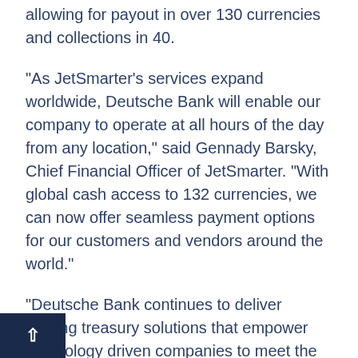allowing for payout in over 130 currencies and collections in 40.
"As JetSmarter's services expand worldwide, Deutsche Bank will enable our company to operate at all hours of the day from any location," said Gennady Barsky, Chief Financial Officer of JetSmarter. "With global cash access to 132 currencies, we can now offer seamless payment options for our customers and vendors around the world."
"Deutsche Bank continues to deliver leading treasury solutions that empower technology driven companies to meet the challenges and complexities of international growth" said Martin Runow, Head of Cash Management for Corporates, Americas, Global Transaction Banking at Deutsche Bank. "JetSmarter and its users will benefit our extensive global network, robust payments architecture, and the full support of our universal